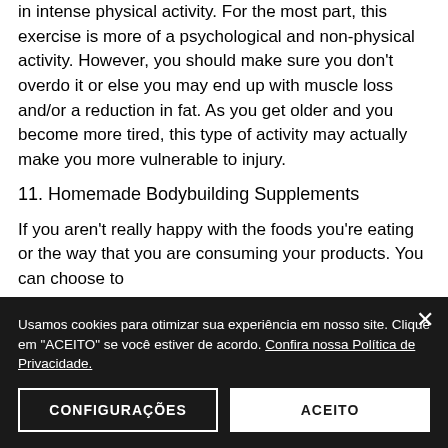in intense physical activity. For the most part, this exercise is more of a psychological and non-physical activity. However, you should make sure you don't overdo it or else you may end up with muscle loss and/or a reduction in fat. As you get older and you become more tired, this type of activity may actually make you more vulnerable to injury.
11. Homemade Bodybuilding Supplements
If you aren't really happy with the foods you're eating or the way that you are consuming your products. You can choose to
Usamos cookies para otimizar sua experiência em nosso site. Clique em "ACEITO" se você estiver de acordo. Confira nossa Política de Privacidade.
CONFIGURAÇÕES
ACEITO